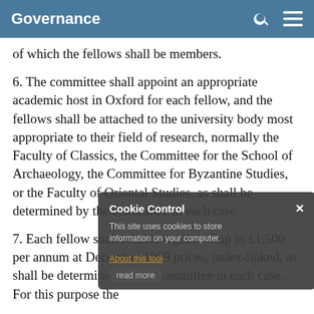Governance
of which the fellows shall be members.
6. The committee shall appoint an appropriate academic host in Oxford for each fellow, and the fellows shall be attached to the university body most appropriate to their field of research, normally the Faculty of Classics, the Committee for the School of Archaeology, the Committee for Byzantine Studies, or the Faculty of Oriental Studies, as shall be determined by the committee in each case.
7. Each fellow shall receive a grant of up to £1,500 per annum at December 1999 prices, index-linked, as shall be determined by the committee in each case. For this purpose the